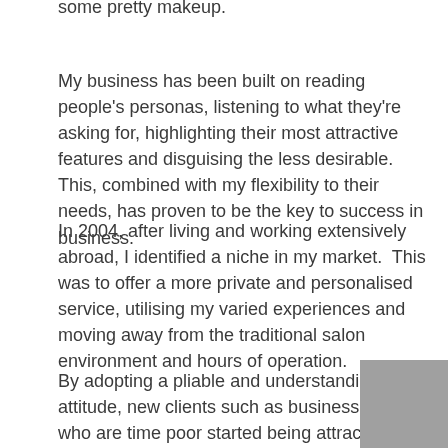some pretty makeup.
My business has been built on reading people's personas, listening to what they're asking for, highlighting their most attractive features and disguising the less desirable. This, combined with my flexibility to their needs, has proven to be the key to success in business.
In 2004, after living and working extensively abroad, I identified a niche in my market.  This was to offer a more private and personalised service, utilising my varied experiences and moving away from the traditional salon environment and hours of operation.
By adopting a pliable and understanding attitude, new clients such as business people who are time poor started being attracted to my services. People desiring this more private and personalised approach often have